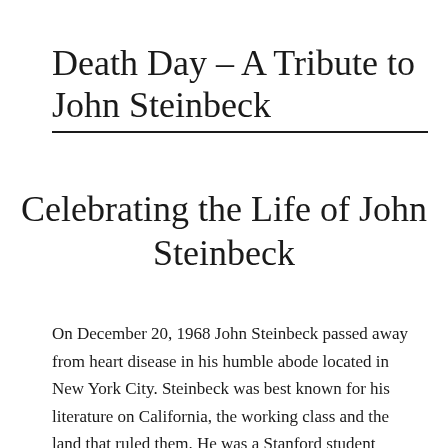Death Day – A Tribute to John Steinbeck
Celebrating the Life of John Steinbeck
On December 20, 1968 John Steinbeck passed away from heart disease in his humble abode located in New York City. Steinbeck was best known for his literature on California, the working class and the land that ruled them. He was a Stanford student without ever completing his degree. He worked, wrote, and inspired American writers for ages to come.